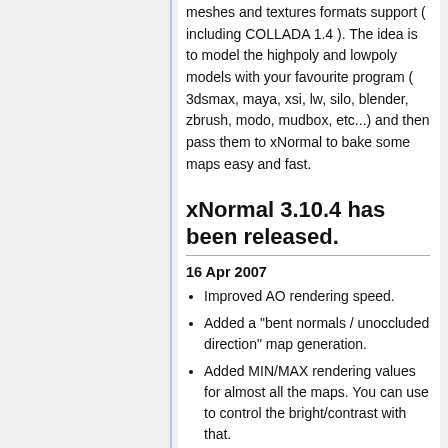meshes and textures formats support ( including COLLADA 1.4 ). The idea is to model the highpoly and lowpoly models with your favourite program ( 3dsmax, maya, xsi, lw, silo, blender, zbrush, modo, mudbox, etc...) and then pass them to xNormal to bake some maps easy and fast.
xNormal 3.10.4 has been released.
16 Apr 2007
Improved AO rendering speed.
Added a "bent normals / unoccluded direction" map generation.
Added MIN/MAX rendering values for almost all the maps. You can use to control the bright/contrast with that.
Now you can use the "AO Bias"